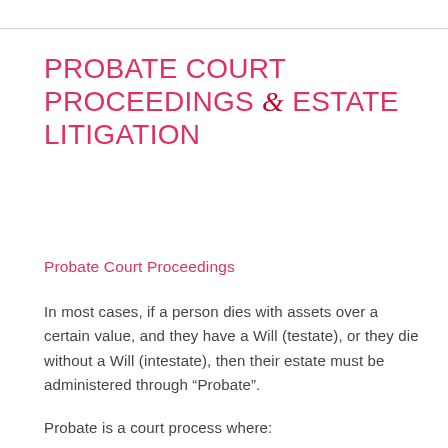PROBATE COURT PROCEEDINGS & ESTATE LITIGATION
Probate Court Proceedings
In most cases, if a person dies with assets over a certain value, and they have a Will (testate), or they die without a Will (intestate), then their estate must be administered through “Probate”.
Probate is a court process where: